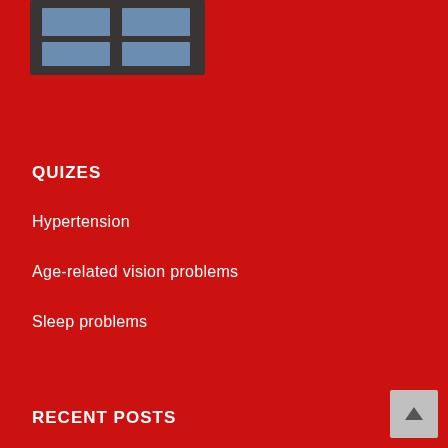[Figure (logo): Dark gray square logo with blue rectangles forming a grid/table pattern]
QUIZES
Hypertension
Age-related vision problems
Sleep problems
RECENT POSTS